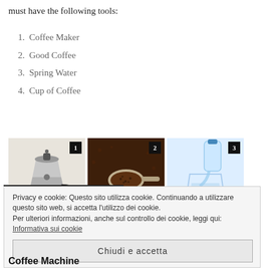must have the following tools:
1. Coffee Maker
2. Good Coffee
3. Spring Water
4. Cup of Coffee
[Figure (photo): Three numbered photos: 1) a moka pot coffee maker, 2) coffee grounds on a spoon, 3) water being poured from a bottle into a glass]
Privacy e cookie: Questo sito utilizza cookie. Continuando a utilizzare questo sito web, si accetta l'utilizzo dei cookie. Per ulteriori informazioni, anche sul controllo dei cookie, leggi qui: Informativa sui cookie
Chiudi e accetta
Coffee Machine